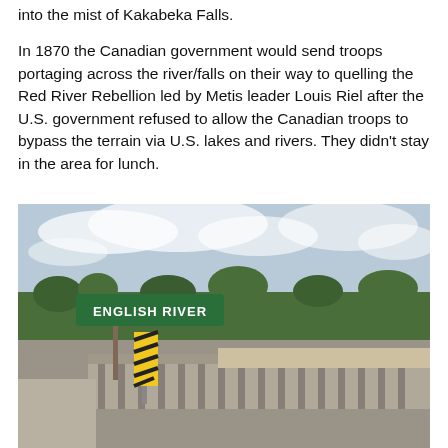into the mist of Kakabeka Falls.
In 1870 the Canadian government would send troops portaging across the river/falls on their way to quelling the Red River Rebellion led by Metis leader Louis Riel after the U.S. government refused to allow the Canadian troops to bypass the terrain via U.S. lakes and rivers. They didn’t stay in the area for lunch.
[Figure (photo): A road bridge over English River with a green highway sign reading 'ENGLISH RIVER', a yellow and black warning post, trees in the background, and a partly cloudy sky.]